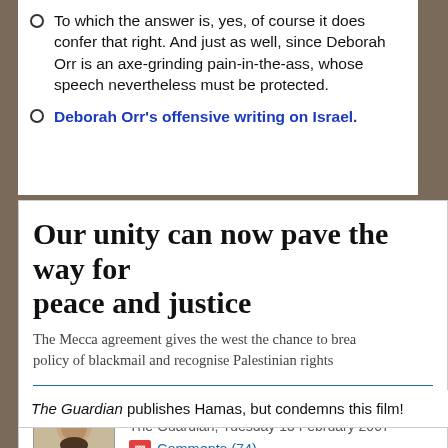To which the answer is, yes, of course it does confer that right. And just as well, since Deborah Orr is an axe-grinding pain-in-the-ass, whose speech nevertheless must be protected.
Deborah Orr's offensive writing on Israel.
Our unity can now pave the way for peace and justice
The Mecca agreement gives the west the chance to break its policy of blackmail and recognise Palestinian rights
Khalid Mish'al
The Guardian, Tuesday 13 February 2007
Comments (74)
The Guardian publishes Hamas, but condemns this film!